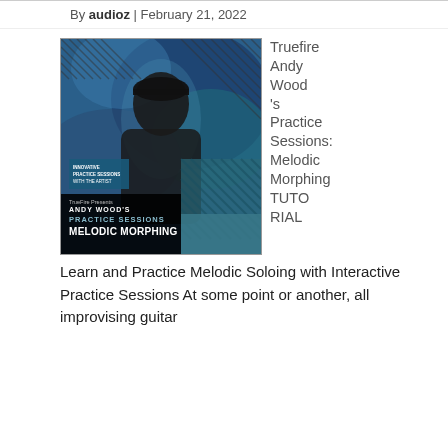By audioz | February 21, 2022
[Figure (photo): Book cover image for TrueFire Presents Andy Wood's Practice Sessions: Melodic Morphing. Shows a man in a black jacket holding a guitar against a blue abstract background. Cover has diagonal hatch patterns and text overlay at the bottom reading 'TrueFire Presents / ANDY WOOD'S / PRACTICE SESSIONS / MELODIC MORPHING'. A badge in lower left reads 'INNOVATIVE PRACTICE SESSIONS WITH THE ARTIST'.]
Truefire Andy Wood 's Practice Sessions: Melodic Morphing TUTORIAL Learn and Practice Melodic Soloing with Interactive Practice Sessions At some point or another, all improvising guitar